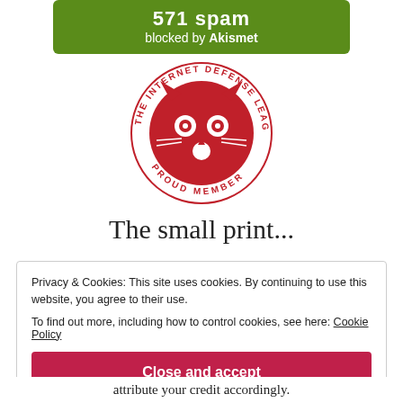571 spam blocked by Akismet
[Figure (logo): Internet Defense League red cat face logo with circular text reading 'THE INTERNET DEFENSE LEAGUE' and 'PROUD MEMBER']
The small print...
Privacy & Cookies: This site uses cookies. By continuing to use this website, you agree to their use. To find out more, including how to control cookies, see here: Cookie Policy
Close and accept
attribute your credit accordingly.